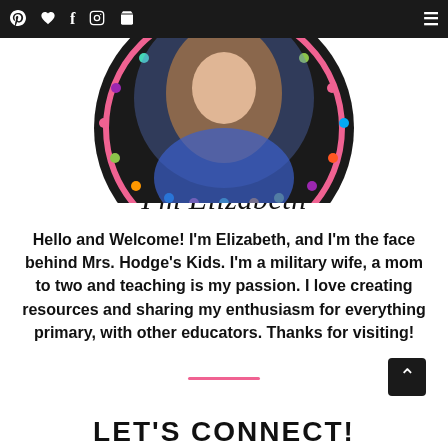Navigation bar with icons: Pinterest, heart/wishlist, Facebook, Instagram, cart, hamburger menu
[Figure (photo): Circular profile photo of Elizabeth with colorful dot border on black background, cropped at top]
I'm Elizabeth
Hello and Welcome! I'm Elizabeth, and I'm the face behind Mrs. Hodge's Kids. I'm a military wife, a mom to two and teaching is my passion. I love creating resources and sharing my enthusiasm for everything primary, with other educators. Thanks for visiting!
LET'S CONNECT!